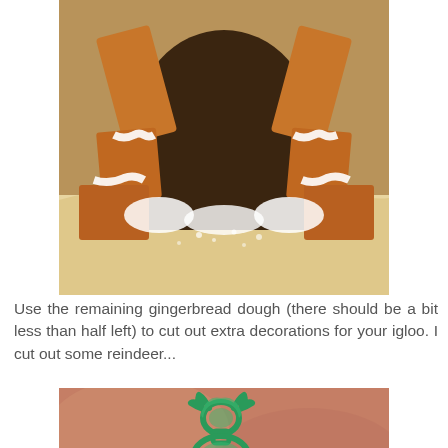[Figure (photo): Close-up photo of a gingerbread igloo construction with white icing/snow, gingerbread pieces arranged in an arch shape, on a surface dusted with powdered sugar]
Use the remaining gingerbread dough (there should be a bit less than half left) to cut out extra decorations for your igloo. I cut out some reindeer...
[Figure (photo): Close-up photo of a green reindeer-shaped cookie cutter being pressed into rolled gingerbread dough]